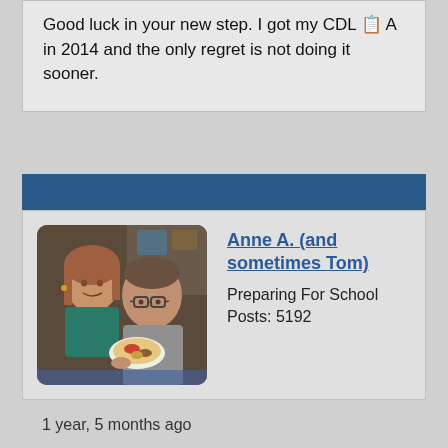Good luck in your new step. I got my CDL 📋 A in 2014 and the only regret is not doing it sooner.
[Figure (photo): Profile photo of two people sitting together, one holding a plate of food. The woman is wearing a teal top and the man is wearing a gray shirt with glasses.]
Anne A. (and sometimes Tom)
Preparing For School
Posts: 5192
1 year, 5 months ago